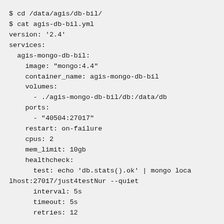$ cd /data/agis/db-bil/
$ cat agis-db-bil.yml
version: '2.4'
services:
  agis-mongo-db-bil:
    image: "mongo:4.4"
    container_name: agis-mongo-db-bil
    volumes:
      - ./agis-mongo-db-bil/db:/data/db
    ports:
      - "40504:27017"
    restart: on-failure
    cpus: 2
    mem_limit: 10gb
    healthcheck:
      test: echo 'db.stats().ok' | mongo localhost:27017/just4testNur --quiet
      interval: 5s
      timeout: 5s
      retries: 12

  agis-elastic-db-bil:
    image: "docker.elastic.co/elasticsearch/e
elasticsearch:7.6.1"